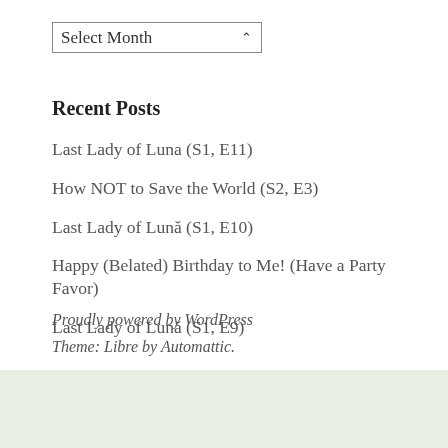[Figure (other): Dropdown widget labeled 'Select Month' with a chevron arrow]
Recent Posts
Last Lady of Luna (S1, E11)
How NOT to Save the World (S2, E3)
Last Lady of Lună (S1, E10)
Happy (Belated) Birthday to Me! (Have a Party Favor)
Last Lady of Lună (S1, E9)
Proudly powered by WordPress
Theme: Libre by Automattic.